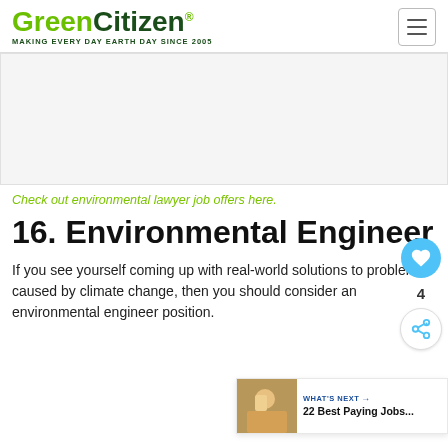GreenCitizen® MAKING EVERY DAY EARTH DAY SINCE 2005
[Figure (other): Advertisement placeholder banner, light gray background]
Check out environmental lawyer job offers here.
16. Environmental Engineer
If you see yourself coming up with real-world solutions to problems caused by climate change, then you should consider an environmental engineer position.